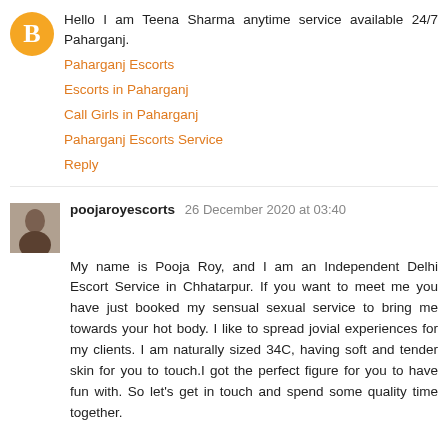Hello I am Teena Sharma anytime service available 24/7 Paharganj.
Paharganj Escorts
Escorts in Paharganj
Call Girls in Paharganj
Paharganj Escorts Service
Reply
poojaroyescorts 26 December 2020 at 03:40
My name is Pooja Roy, and I am an Independent Delhi Escort Service in Chhatarpur. If you want to meet me you have just booked my sensual sexual service to bring me towards your hot body. I like to spread jovial experiences for my clients. I am naturally sized 34C, having soft and tender skin for you to touch.I got the perfect figure for you to have fun with. So let's get in touch and spend some quality time together.